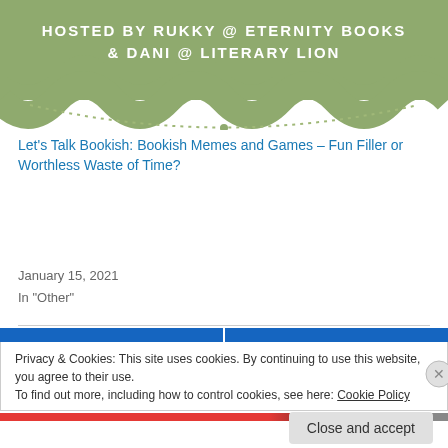[Figure (illustration): Green scalloped banner with text 'HOSTED BY RUKKY @ ETERNITY BOOKS & DANI @ LITERARY LION' in white bold font, with decorative dotted border below]
Let's Talk Bookish: Bookish Memes and Games – Fun Filler or Worthless Waste of Time?
January 15, 2021
In "Other"
March 12, 2021
5 Replies
Privacy & Cookies: This site uses cookies. By continuing to use this website, you agree to their use.
To find out more, including how to control cookies, see here: Cookie Policy
Close and accept